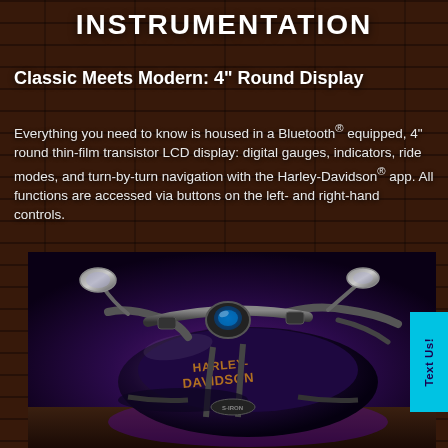INSTRUMENTATION
Classic Meets Modern: 4" Round Display
Everything you need to know is housed in a Bluetooth® equipped, 4" round thin-film transistor LCD display: digital gauges, indicators, ride modes, and turn-by-turn navigation with the Harley-Davidson® app. All functions are accessed via buttons on the left- and right-hand controls.
[Figure (photo): Close-up photo of a Harley-Davidson motorcycle showing the handlebar area with round LCD display instrument cluster, side-view mirror, and the Harley-Davidson branded fuel tank in dark purple/black finish]
Text Us!